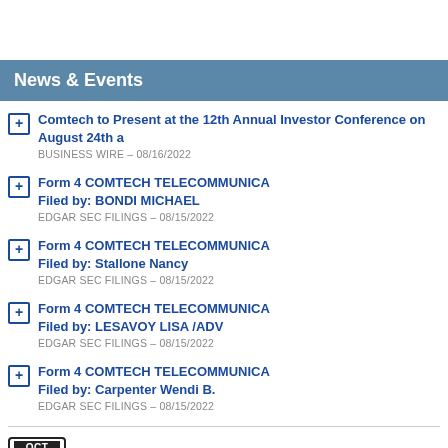News & Events
Comtech to Present at the 12th Annual Investor Conference on August 24th a
BUSINESS WIRE – 08/16/2022
Form 4 COMTECH TELECOMMUNICA Filed by: BONDI MICHAEL
EDGAR SEC FILINGS – 08/15/2022
Form 4 COMTECH TELECOMMUNICA Filed by: Stallone Nancy
EDGAR SEC FILINGS – 08/15/2022
Form 4 COMTECH TELECOMMUNICA Filed by: LESAVOY LISA /ADV
EDGAR SEC FILINGS – 08/15/2022
Form 4 COMTECH TELECOMMUNICA Filed by: Carpenter Wendi B.
EDGAR SEC FILINGS – 08/15/2022
OCT 03 CMTL to announce Q4 earnings (Unc